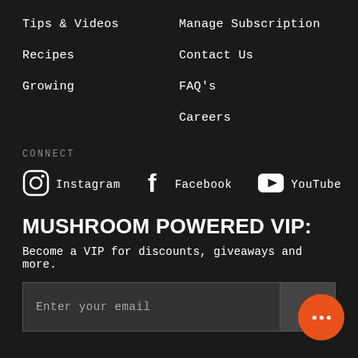Tips & Videos
Manage Subscription
Recipes
Contact Us
Growing
FAQ's
Careers
CONNECT
Instagram   Facebook   YouTube
MUSHROOM POWERED VIP:
Become a VIP for discounts, giveaways and more.
Enter your email